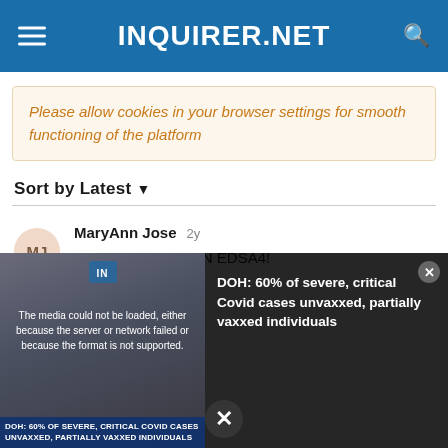INQUIRER.NET
Please allow cookies in your browser settings for smooth functioning of the platform
Sort by Latest
MaryAnn Jose 2y
PALPAK NA NAMAN EDSA4! NILANGAW.
RALLY PA MORE!?
[Figure (screenshot): Video player overlay showing error message: 'The media could not be loaded, either because the server or network failed or because the format is not supported.' with a thumbnail of a news video. Caption reads: 'DOH: 60% of SEVERE, CRITICAL COVID CASES UNVAXXED, PARTIALLY VAXXED INDIVIDUALS'. Right side shows text: 'DOH: 60% of severe, critical Covid cases unvaxxed, partially vaxxed individuals' with a close button and X button at bottom.]